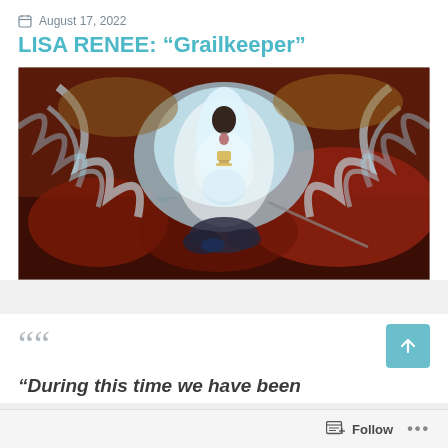August 17, 2022
LISA RENEE: “Grailkeeper”
[Figure (illustration): Fantasy/spiritual painting of a woman in flowing white robes holding a golden chalice (grail), surrounded by swirling blue-white light/water energy, standing over a fallen armored knight on dark rocky terrain. The image has a mystical, ethereal quality with warm red and cool blue contrasts.]
“During this time we have been